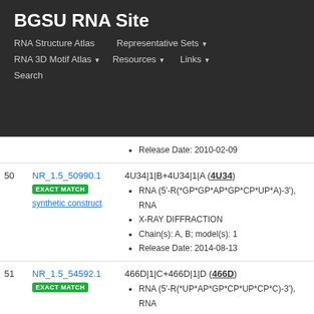BGSU RNA Site
RNA Structure Atlas | Representative Sets | RNA 3D Motif Atlas | Resources | Links | Search
| # | ID | Info |
| --- | --- | --- |
|  |  | Release Date: 2010-02-09 |
| 50 | NR_1.5_50990.1 EXACT MATCH synthetic construct | 4U34|1|B+4U34|1|A (4U34) • RNA (5'-R(*GP*GP*AP*GP*CP*UP*A)-3'), RNA • X-RAY DIFFRACTION • Chain(s): A, B; model(s): 1 • Release Date: 2014-08-13 |
| 51 | NR_1.5_54592.1 EXACT MATCH | 466D|1|C+466D|1|D (466D) • RNA (5'-R(*UP*AP*GP*CP*UP*CP*C)-3'), RNA • X-RAY DIFFRACTION • Chain(s): C, D; model(s): 1 • Release Date: 1999-08-16 |